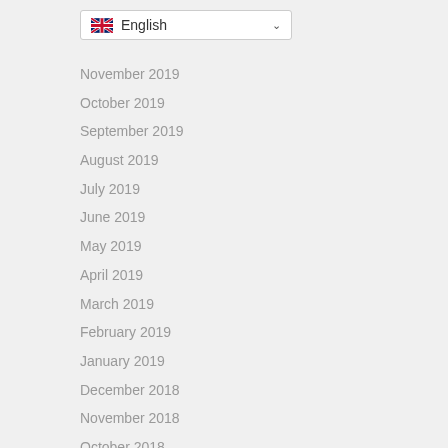[Figure (screenshot): Language selector dropdown showing UK flag and 'English' with a chevron]
November 2019
October 2019
September 2019
August 2019
July 2019
June 2019
May 2019
April 2019
March 2019
February 2019
January 2019
December 2018
November 2018
October 2018
September 2018
August 2018